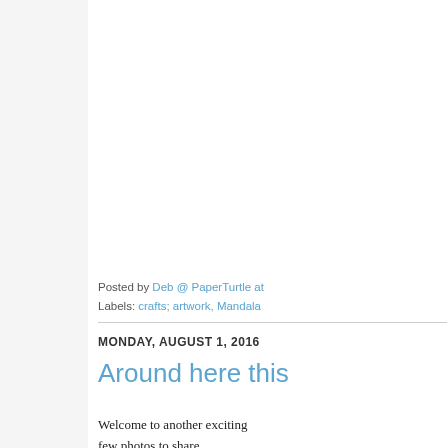Posted by Deb @ PaperTurtle at
Labels: crafts; artwork, Mandala
MONDAY, AUGUST 1, 2016
Around here this
Welcome to another exciting few photos to share.
Saturday morning I searched places in their habitat and th sprouts. :o)!!! Made me so h (hopefully) eating bugs from